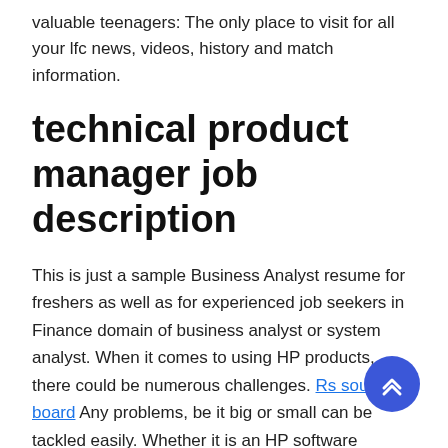valuable teenagers: The only place to visit for all your lfc news, videos, history and match information.
technical product manager job description
This is just a sample Business Analyst resume for freshers as well as for experienced job seekers in Finance domain of business analyst or system analyst. When it comes to using HP products, there could be numerous challenges. Rs sounding board Any problems, be it big or small can be tackled easily. Whether it is an HP software installation problem, HP Driver Installation error or a product repair issue or a query, all these bugs being solved easily the help of HP Chat Support where it is their continuous